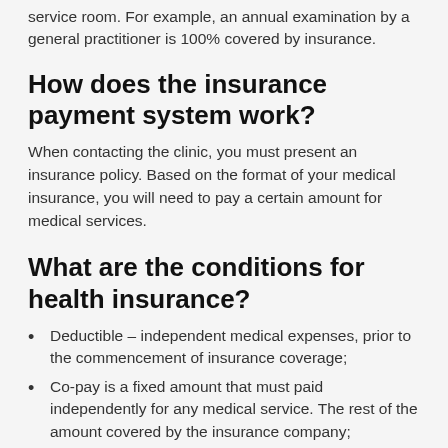service room. For example, an annual examination by a general practitioner is 100% covered by insurance.
How does the insurance payment system work?
When contacting the clinic, you must present an insurance policy. Based on the format of your medical insurance, you will need to pay a certain amount for medical services.
What are the conditions for health insurance?
Deductible – independent medical expenses, prior to the commencement of insurance coverage;
Co-pay is a fixed amount that must paid independently for any medical service. The rest of the amount covered by the insurance company;
Co-insurance – a certain percentage is paid independently, the rest of the costs are borne by the insurance company;